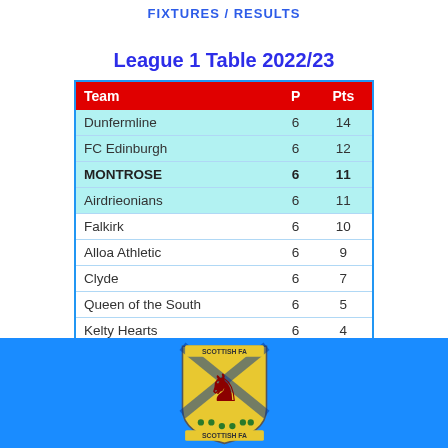FIXTURES / RESULTS
League 1 Table 2022/23
| Team | P | Pts |
| --- | --- | --- |
| Dunfermline | 6 | 14 |
| FC Edinburgh | 6 | 12 |
| MONTROSE | 6 | 11 |
| Airdrieonians | 6 | 11 |
| Falkirk | 6 | 10 |
| Alloa Athletic | 6 | 9 |
| Clyde | 6 | 7 |
| Queen of the South | 6 | 5 |
| Kelty Hearts | 6 | 4 |
| Peterhead | 6 | 1 |
[Figure (logo): Scottish FA crest/shield logo on blue background bar at bottom of page]